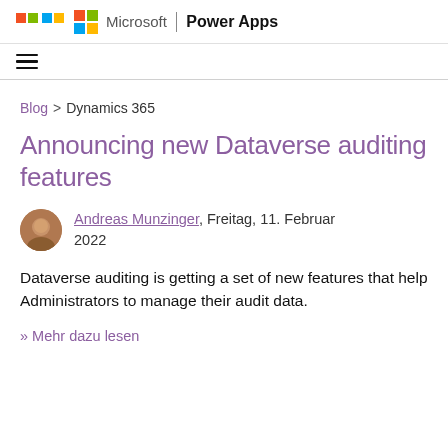Microsoft | Power Apps
Blog > Dynamics 365
Announcing new Dataverse auditing features
Andreas Munzinger, Freitag, 11. Februar 2022
Dataverse auditing is getting a set of new features that help Administrators to manage their audit data.
» Mehr dazu lesen